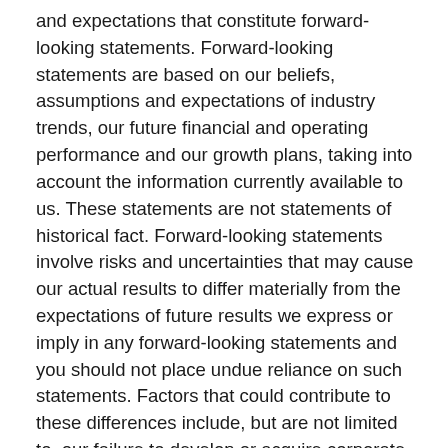and expectations that constitute forward-looking statements. Forward-looking statements are based on our beliefs, assumptions and expectations of industry trends, our future financial and operating performance and our growth plans, taking into account the information currently available to us. These statements are not statements of historical fact. Forward-looking statements involve risks and uncertainties that may cause our actual results to differ materially from the expectations of future results we express or imply in any forward-looking statements and you should not place undue reliance on such statements. Factors that could contribute to these differences include, but are not limited to, our failure to develop or acquire corporate clinics as rapidly as we intend, our failure to profitably operate corporate clinics, and the factors described in “Risk Factors” in our Annual Report on Form 10-K for the year ended December 31, 2015, as filed with the SEC. Words such as, "anticipates," "believes," "continues," "estimates," "expects," "goal," "objectives," "intends," "may,"